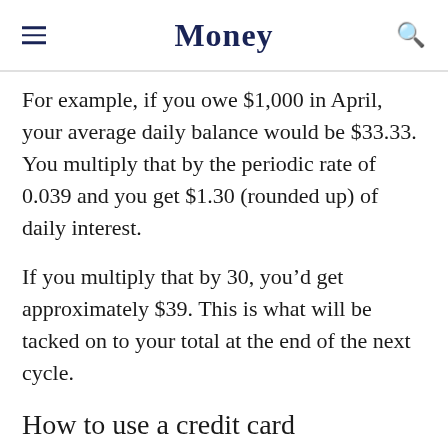Money
For example, if you owe $1,000 in April, your average daily balance would be $33.33. You multiply that by the periodic rate of 0.039 and you get $1.30 (rounded up) of daily interest.
If you multiply that by 30, you’d get approximately $39. This is what will be tacked on to your total at the end of the next cycle.
How to use a credit card
The cheapest way to use a credit card is to pay...